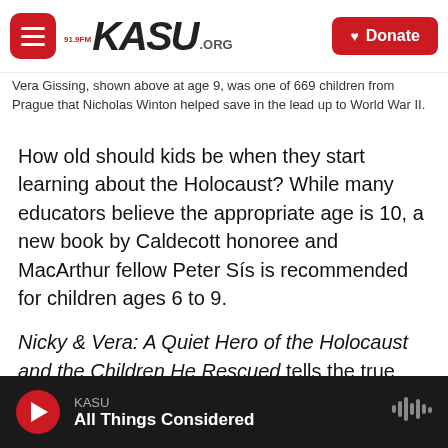919FM KASU.ORG | Donate
Vera Gissing, shown above at age 9, was one of 669 children from Prague that Nicholas Winton helped save in the lead up to World War II.
How old should kids be when they start learning about the Holocaust? While many educators believe the appropriate age is 10, a new book by Caldecott honoree and MacArthur fellow Peter Sís is recommended for children ages 6 to 9.
Nicky & Vera: A Quiet Hero of the Holocaust and the Children He Rescued tells the true story of the Englishman Nicholas "Nicky" Winton, who rescued 669 children from the Nazis, including Vera Gissing.
KASU | All Things Considered